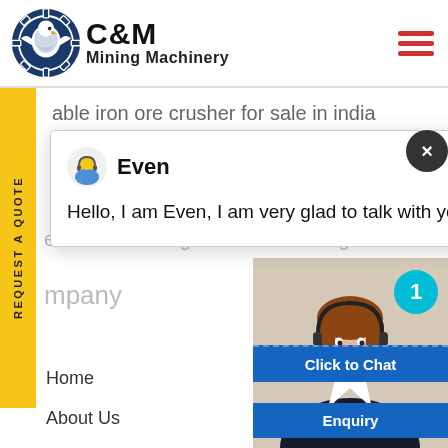[Figure (logo): C&M Mining Machinery logo with eagle/gear icon in dark blue and bold text]
able iron ore crusher for sale in india
[Figure (screenshot): Live chat popup with agent 'Even' saying 'Hello, I am Even, I am very glad to talk with you!']
e stone crushing machine from hig
mpany
Home
About Us
[Figure (photo): Female customer service representative with headset, with 'Click to Chat' button and 'Enquiry' button below]
REQUEST A QUOTE